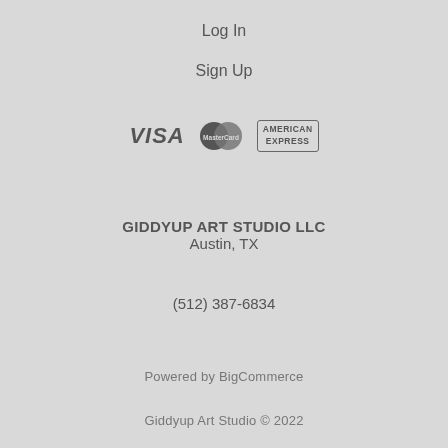Log In
Sign Up
[Figure (logo): Payment method logos: VISA, MasterCard, American Express]
GIDDYUP ART STUDIO LLC
Austin, TX
(512) 387-6834
Powered by BigCommerce
Giddyup Art Studio © 2022